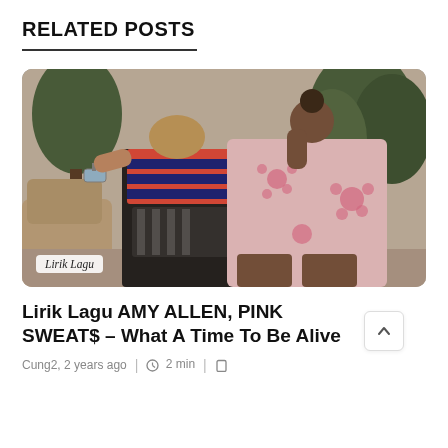RELATED POSTS
[Figure (photo): Two people posing outdoors next to a car. One person wearing a red and blue striped crop top with black and white shorts, the other wearing a white hoodie with pink flower prints. Trees in background. Badge overlay says 'Lirik Lagu'.]
Lirik Lagu AMY ALLEN, PINK SWEAT$ – What A Time To Be Alive
Cung2, 2 years ago   |   2 min   |